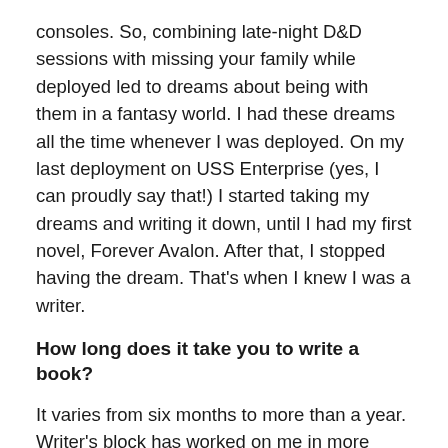consoles. So, combining late-night D&D sessions with missing your family while deployed led to dreams about being with them in a fantasy world. I had these dreams all the time whenever I was deployed. On my last deployment on USS Enterprise (yes, I can proudly say that!) I started taking my dreams and writing it down, until I had my first novel, Forever Avalon. After that, I stopped having the dream. That's when I knew I was a writer.
How long does it take you to write a book?
It varies from six months to more than a year. Writer's block has worked on me in more ways than one. Add to that my full time job, writing/editing my own WIPs,  as well as marketing, social media, setting up book signings, etc. It makes for a lot of long days and nights, and not in a good way. But, it's what I love doing and, without writing, these stories would stay stuck in my